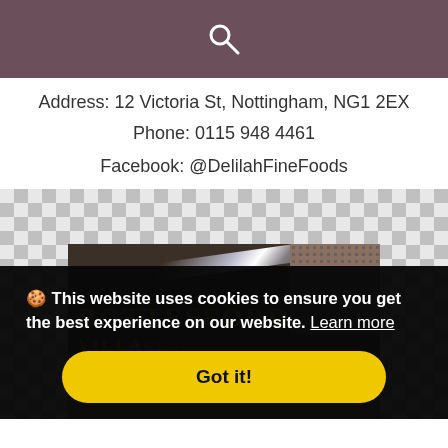Address: 12 Victoria St, Nottingham, NG1 2EX
Phone: 0115 948 4461
Facebook: @DelilahFineFoods
[Figure (photo): A sign reading 'BOTTESFORD VILLAGE' mounted on a dark surface with textured dots in the upper right corner, shown against a checkerboard background.]
🍪 This website uses cookies to ensure you get the best experience on our website. Learn more
Got it!